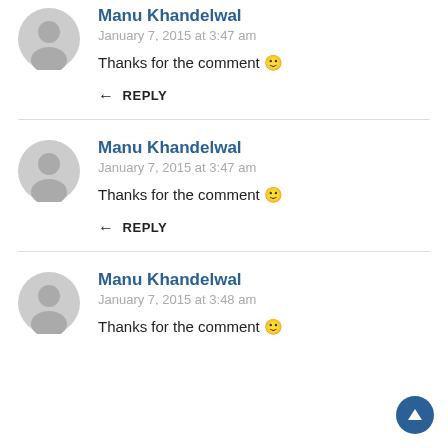Manu Khandelwal
January 7, 2015 at 3:47 am
Thanks for the comment 🙂
← REPLY
Manu Khandelwal
January 7, 2015 at 3:47 am
Thanks for the comment 🙂
← REPLY
Manu Khandelwal
January 7, 2015 at 3:48 am
Thanks for the comment 🙂